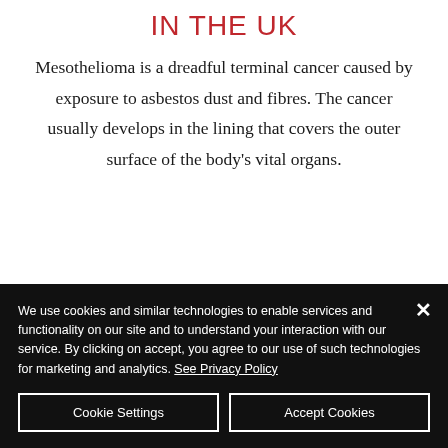IN THE UK
Mesothelioma is a dreadful terminal cancer caused by exposure to asbestos dust and fibres. The cancer usually develops in the lining that covers the outer surface of the body's vital organs.
We use cookies and similar technologies to enable services and functionality on our site and to understand your interaction with our service. By clicking on accept, you agree to our use of such technologies for marketing and analytics. See Privacy Policy